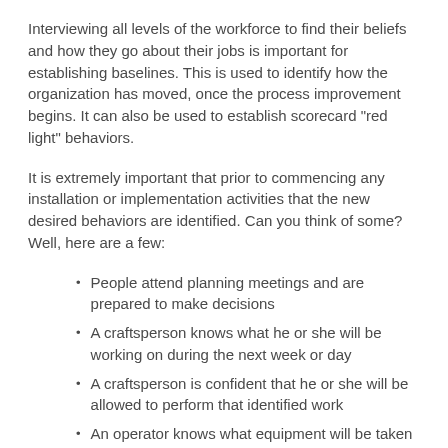Interviewing all levels of the workforce to find their beliefs and how they go about their jobs is important for establishing baselines. This is used to identify how the organization has moved, once the process improvement begins. It can also be used to establish scorecard "red light" behaviors.
It is extremely important that prior to commencing any installation or implementation activities that the new desired behaviors are identified. Can you think of some? Well, here are a few:
People attend planning meetings and are prepared to make decisions
A craftsperson knows what he or she will be working on during the next week or day
A craftsperson is confident that he or she will be allowed to perform that identified work
An operator knows what equipment will be taken out of service tomorrow
A planner understands the importance of clear and concise work instructions